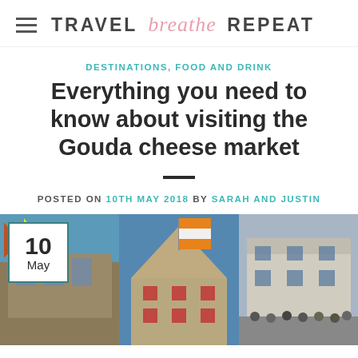TRAVEL breathe REPEAT
DESTINATIONS, FOOD AND DRINK
Everything you need to know about visiting the Gouda cheese market
POSTED ON 10TH MAY 2018 BY SARAH AND JUSTIN
[Figure (photo): Three photos showing buildings at the Gouda cheese market — left: colorful flags and a gabled facade, middle: a prominent gabled building with an orange-striped flag, right: a classical Dutch building with a crowd of people in front. A white date badge showing '10 May' overlays the bottom-left corner.]